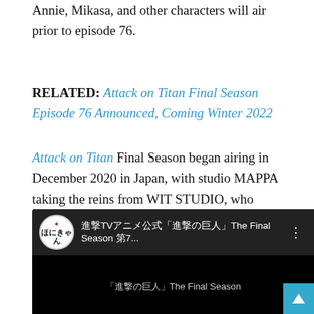Annie, Mikasa, and other characters will air prior to episode 76.
RELATED: Attack on Titan Final Season Episode 76 Announced, Coming Winter 2022
Attack on Titan Final Season began airing in December 2020 in Japan, with studio MAPPA taking the reins from WIT STUDIO, who animated the first three seasons. The anime concluded its broadcast on March 29 earlier this year with a promo video teasing another episode still to come.
[Figure (screenshot): YouTube video embed showing a video titled with Japanese text and 'The Final Season 第7...' by channel ほにきゃん, with subtitle text '進撃の巨人 | The Final Season' visible at bottom.]